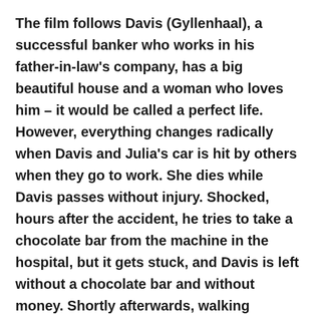The film follows Davis (Gyllenhaal), a successful banker who works in his father-in-law's company, has a big beautiful house and a woman who loves him – it would be called a perfect life. However, everything changes radically when Davis and Julia's car is hit by others when they go to work. She dies while Davis passes without injury. Shocked, hours after the accident, he tries to take a chocolate bar from the machine in the hospital, but it gets stuck, and Davis is left without a chocolate bar and without money. Shortly afterwards, walking through the next hours of his life, like through a fog, he came up with the idea to write to the customer service of the company to which the candy machine in the hospital belongs. His letter is anything but ordinary, he writes more after it, and then he gets a strange invitation that will change his life.